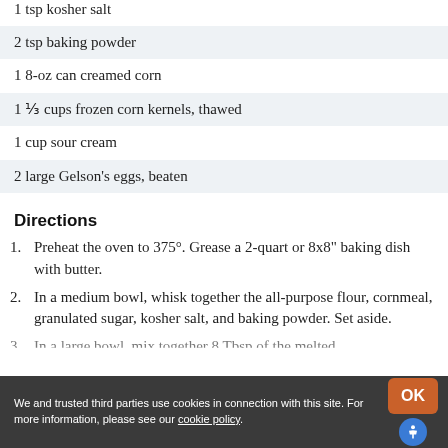1 tsp kosher salt
2 tsp baking powder
1 8-oz can creamed corn
1 ⅓ cups frozen corn kernels, thawed
1 cup sour cream
2 large Gelson's eggs, beaten
Directions
1. Preheat the oven to 375°. Grease a 2-quart or 8x8" baking dish with butter.
2. In a medium bowl, whisk together the all-purpose flour, cornmeal, granulated sugar, kosher salt, and baking powder. Set aside.
3. In a large bowl, mix together 8 Tbsp of the melted
We and trusted third parties use cookies in connection with this site. For more information, please see our cookie policy.